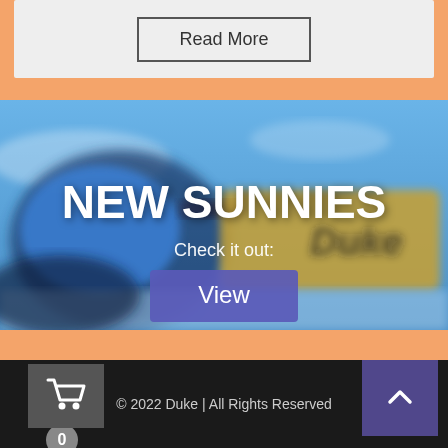[Figure (screenshot): Gray card area with a 'Read More' button outlined in dark border]
[Figure (photo): Banner photo of sunglasses (Duke brand) with blurred blue sky background, overlaid with text 'NEW SUNNIES', 'Check it out:', and a 'View' button]
© 2022 Duke | All Rights Reserved